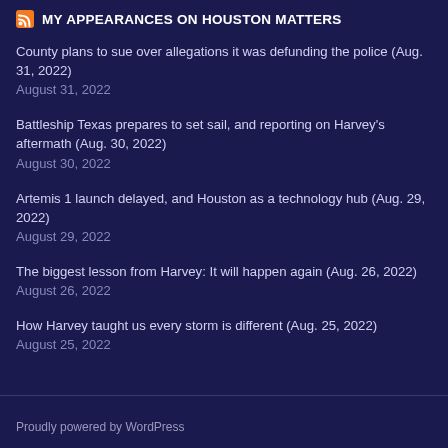MY APPEARANCES ON HOUSTON MATTERS
County plans to sue over allegations it was defunding the police (Aug. 31, 2022)
August 31, 2022
Battleship Texas prepares to set sail, and reporting on Harvey's aftermath (Aug. 30, 2022)
August 30, 2022
Artemis 1 launch delayed, and Houston as a technology hub (Aug. 29, 2022)
August 29, 2022
The biggest lesson from Harvey: It will happen again (Aug. 26, 2022)
August 26, 2022
How Harvey taught us every storm is different (Aug. 25, 2022)
August 25, 2022
Proudly powered by WordPress